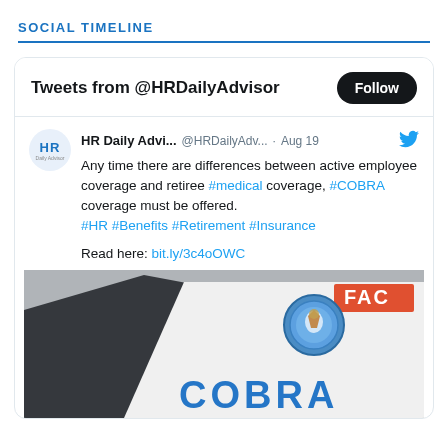SOCIAL TIMELINE
Tweets from @HRDailyAdvisor
HR Daily Advi... @HRDailyAdv... · Aug 19
Any time there are differences between active employee coverage and retiree #medical coverage, #COBRA coverage must be offered. #HR #Benefits #Retirement #Insurance

Read here: bit.ly/3c4oOWC
[Figure (photo): Close-up photo of a COBRA insurance card or document with a circular seal/logo and text showing 'COBRA' and 'FAC' visible]